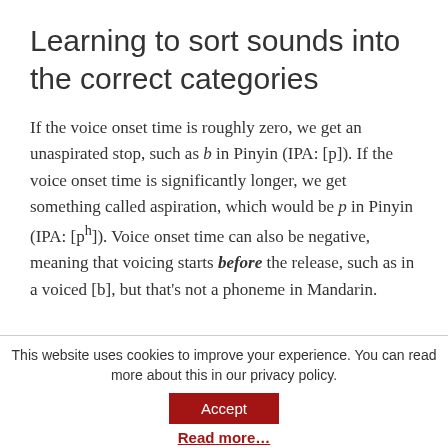Learning to sort sounds into the correct categories
If the voice onset time is roughly zero, we get an unaspirated stop, such as b in Pinyin (IPA: [p]). If the voice onset time is significantly longer, we get something called aspiration, which would be p in Pinyin (IPA: [pʰ]). Voice onset time can also be negative, meaning that voicing starts before the release, such as in a voiced [b], but that's not a phoneme in Mandarin.
This website uses cookies to improve your experience. You can read more about this in our privacy policy.
Accept
Read more…